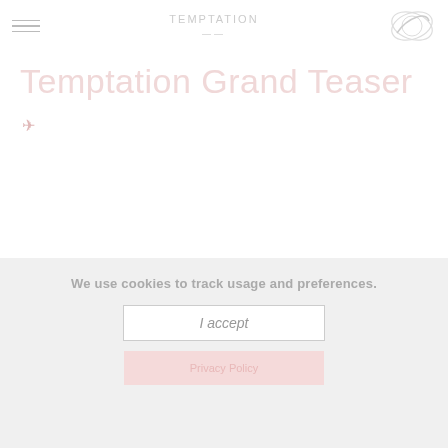TEMPTATION
Temptation Grand Teaser
We use cookies to track usage and preferences.
I accept
Privacy Policy